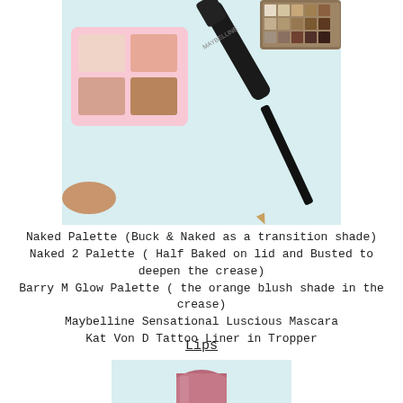[Figure (photo): Makeup products: a pink blush/contour palette, Maybelline mascara, a black eyeliner pencil, and a neutral eyeshadow palette arranged on a light blue background]
Naked Palette (Buck & Naked as a transition shade)
Naked 2 Palette ( Half Baked on lid and Busted to deepen the crease)
Barry M Glow Palette ( the orange blush shade in the crease)
Maybelline Sensational Luscious Mascara
Kat Von D Tattoo Liner in Tropper
Lips
[Figure (photo): A mauve/pink matte lipstick in a gold case against a light blue background]